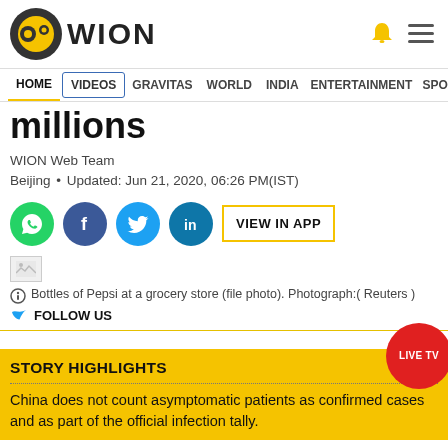WION
HOME  VIDEOS  GRAVITAS  WORLD  INDIA  ENTERTAINMENT  SPORTS
millions
WION Web Team
Beijing • Updated: Jun 21, 2020, 06:26 PM(IST)
[Figure (infographic): Social share buttons: WhatsApp, Facebook, Twitter, LinkedIn, and VIEW IN APP button]
[Figure (photo): Broken image placeholder - Bottles of Pepsi at a grocery store (file photo)]
Bottles of Pepsi at a grocery store (file photo). Photograph:( Reuters )
FOLLOW US
STORY HIGHLIGHTS
China does not count asymptomatic patients as confirmed cases and as part of the official infection tally.